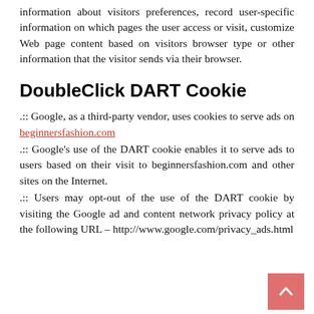information about visitors preferences, record user-specific information on which pages the user access or visit, customize Web page content based on visitors browser type or other information that the visitor sends via their browser.
DoubleClick DART Cookie
.:  Google, as a third-party vendor, uses cookies to serve ads on beginnersfashion.com
.:  Google's use of the DART cookie enables it to serve ads to users based on their visit to beginnersfashion.com and other sites on the Internet.
.:  Users may opt-out of the use of the DART cookie by visiting the Google ad and content network privacy policy at the following URL – http://www.google.com/privacy_ads.html